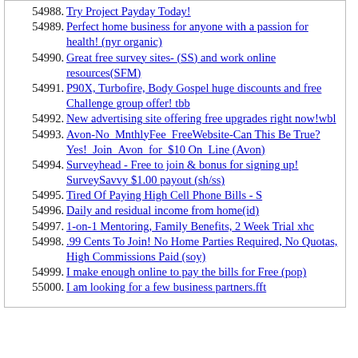54988. Try Project Payday Today!
54989. Perfect home business for anyone with a passion for health! (nyr organic)
54990. Great free survey sites- (SS) and work online resources(SFM)
54991. P90X, Turbofire, Body Gospel huge discounts and free Challenge group offer! tbb
54992. New advertising site offering free upgrades right now!wbl
54993. Avon-No_MnthlyFee_FreeWebsite-Can This Be True? Yes!_Join_Avon_for_$10 On_Line (Avon)
54994. Surveyhead - Free to join & bonus for signing up! SurveySavvy $1.00 payout (sh/ss)
54995. Tired Of Paying High Cell Phone Bills - S
54996. Daily and residual income from home(id)
54997. 1-on-1 Mentoring, Family Benefits, 2 Week Trial xhc
54998. .99 Cents To Join! No Home Parties Required, No Quotas, High Commissions Paid (soy)
54999. I make enough online to pay the bills for Free (pop)
55000. I am looking for a few business partners.fft